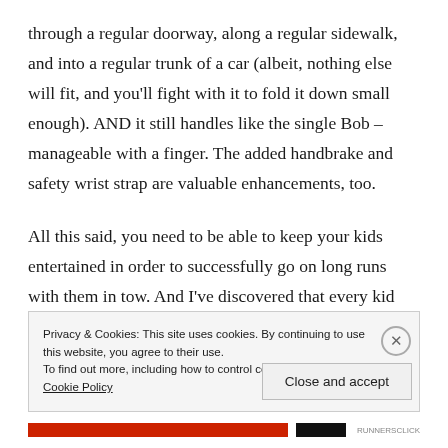through a regular doorway, along a regular sidewalk, and into a regular trunk of a car (albeit, nothing else will fit, and you'll fight with it to fold it down small enough). AND it still handles like the single Bob – manageable with a finger. The added handbrake and safety wrist strap are valuable enhancements, too.
All this said, you need to be able to keep your kids entertained in order to successfully go on long runs with them in tow. And I've discovered that every kid requires different tricks and tools to keep them calm, happy, and
Privacy & Cookies: This site uses cookies. By continuing to use this website, you agree to their use.
To find out more, including how to control cookies, see here: Cookie Policy